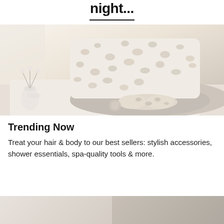night...
[Figure (photo): A cosy bed scene featuring a leopard-print pillow, a fluffy beige blanket, a leopard-print sleep mask, and a small floral arrangement in a glass vase on the nightstand.]
Trending Now
Treat your hair & body to our best sellers: stylish accessories, shower essentials, spa-quality tools & more.
[Figure (photo): Bottom strip showing two product images partially visible.]